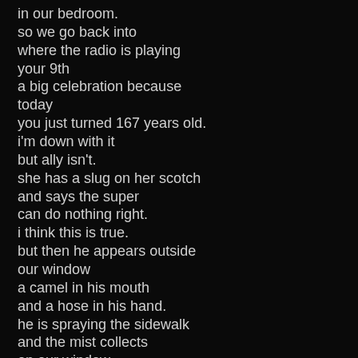in our bedroom.
so we go back into
where the radio is playing
your 9th
a big celebration because
today
you just turned 167 years old.
i'm down with it
but ally isn't.
she has a slug on her scotch
and says the super
can do nothing right.
i think this is true.
but then he appears outside
our window
a camel in his mouth
and a hose in his hand.
he is spraying the sidewalk
and the mist collects
on our window
right as your symphony
crescendos